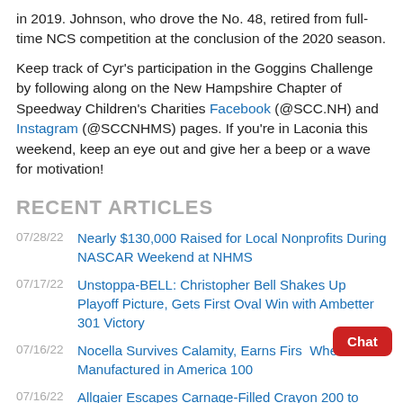in 2019. Johnson, who drove the No. 48, retired from full-time NCS competition at the conclusion of the 2020 season.
Keep track of Cyr's participation in the Goggins Challenge by following along on the New Hampshire Chapter of Speedway Children's Charities Facebook (@SCC.NH) and Instagram (@SCCNHMS) pages. If you're in Laconia this weekend, keep an eye out and give her a beep or a wave for motivation!
RECENT ARTICLES
07/28/22  Nearly $130,000 Raised for Local Nonprofits During NASCAR Weekend at NHMS
07/17/22  Unstoppa-BELL: Christopher Bell Shakes Up Playoff Picture, Gets First Oval Win with Ambetter 301 Victory
07/16/22  Nocella Survives Calamity, Earns First Whelen Manufactured in America 100
07/16/22  Allgaier Escapes Carnage-Filled Crayon 200 to